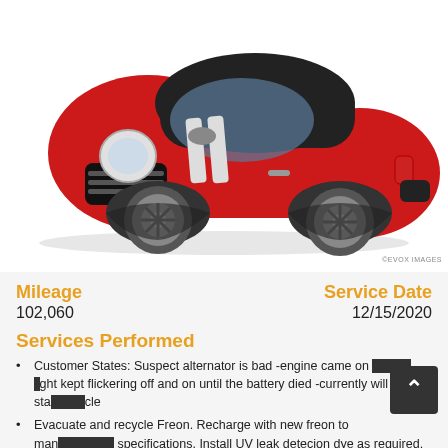[Figure (photo): Red MINI Cooper coupe with white racing stripes on hood, viewed from front-left angle on white background]
©EVOX IMAGES
Mileage
102,060
Service Date
12/15/2020
Services Performed
Customer States: Suspect alternator is bad -engine came on battery light kept flickering off and on until the battery died -currently will not start vehicle
Evacuate and recycle Freon. Recharge with new freon to manufacturers specifications. Install UV leak detecion dye as required. Check for leaks w/UV dye. Check for proper air conditioning operation.